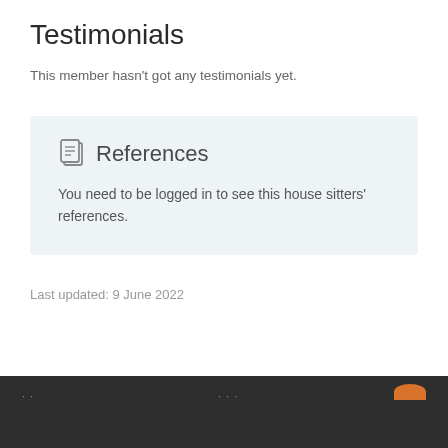Testimonials
This member hasn't got any testimonials yet.
References
You need to be logged in to see this house sitters' references.
Last updated: 9 June 2022